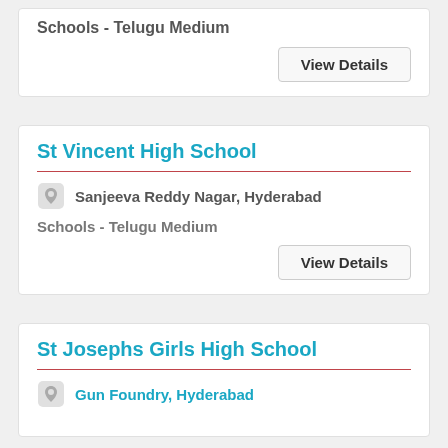St Education in A School
Schools - Telugu Medium
View Details
St Vincent High School
Sanjeeva Reddy Nagar, Hyderabad
Schools - Telugu Medium
View Details
St Josephs Girls High School
Gun Foundry, Hyderabad